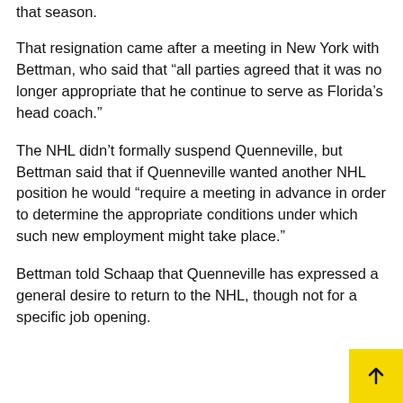that season.
That resignation came after a meeting in New York with Bettman, who said that “all parties agreed that it was no longer appropriate that he continue to serve as Florida’s head coach.”
The NHL didn’t formally suspend Quenneville, but Bettman said that if Quenneville wanted another NHL position he would “require a meeting in advance in order to determine the appropriate conditions under which such new employment might take place.”
Bettman told Schaap that Quenneville has expressed a general desire to return to the NHL, though not for a specific job opening.